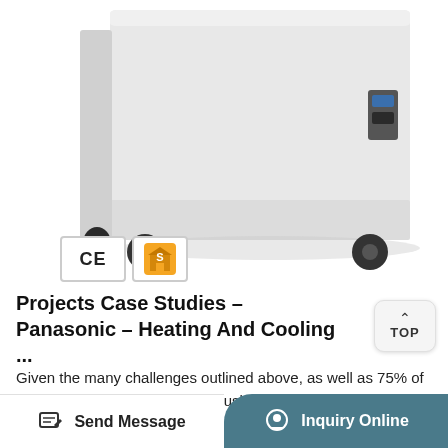[Figure (photo): White chest freezer on black caster wheels, photographed from the side/front angle showing a small control panel on the right side]
[Figure (logo): CE certification mark in a bordered box, and a supplier/S badge icon in orange and gold colors]
Projects Case Studies - Panasonic - Heating And Cooling ...
Given the many challenges outlined above, as well as 75% of the building having been previously redeveloped in 2011, this effectively leaving a 200 kW chiller servicing 40 kW of cooling. The original heating system was also from an existing inefficient boiler connected to ...
Send Message
Inquiry Online